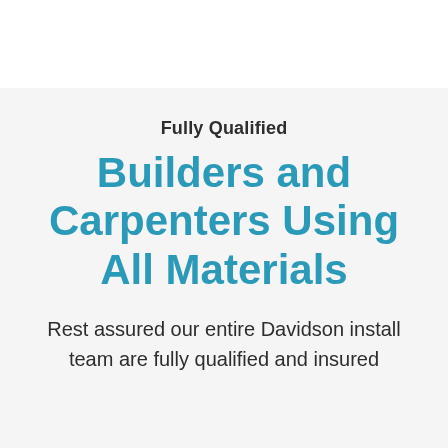Fully Qualified
Builders and Carpenters Using All Materials
Rest assured our entire Davidson install team are fully qualified and insured